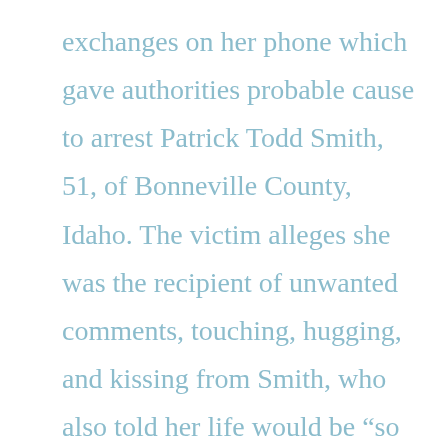exchanges on her phone which gave authorities probable cause to arrest Patrick Todd Smith, 51, of Bonneville County, Idaho. The victim alleges she was the recipient of unwanted comments, touching, hugging, and kissing from Smith, who also told her life would be “so much easier” for him if she weren’t 17. Things came to a head in May 2019 when he allegedly